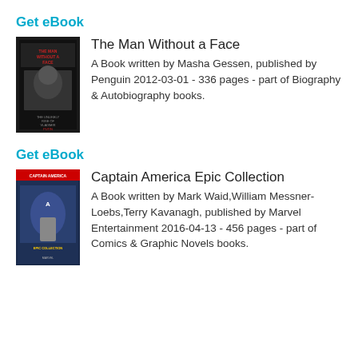Get eBook
The Man Without a Face
A Book written by Masha Gessen, published by Penguin 2012-03-01 - 336 pages - part of Biography & Autobiography books.
[Figure (photo): Book cover of The Man Without a Face - dark cover with red text]
Get eBook
Captain America Epic Collection
A Book written by Mark Waid,William Messner-Loebs,Terry Kavanagh, published by Marvel Entertainment 2016-04-13 - 456 pages - part of Comics & Graphic Novels books.
[Figure (photo): Book cover of Captain America Epic Collection - comic book cover with Captain America figure]